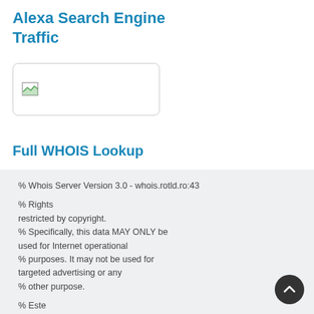Alexa Search Engine Traffic
[Figure (other): Broken image placeholder in a rounded border box]
Full WHOIS Lookup
% Whois Server Version 3.0 - whois.rotld.ro:43

% Rights
restricted by copyright.
% Specifically, this data MAY ONLY be used for Internet operational
% purposes. It may not be used for targeted advertising or any
% other purpose.

% Este
INTERZISA folosirea datelor de pe acest server in oricare
% alt
scop decat operarea retelei. In special este INTERZISA
% folosirea